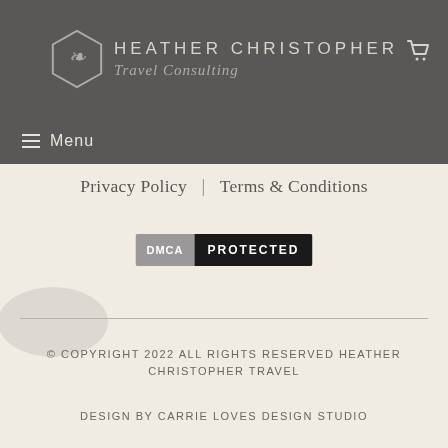[Figure (logo): Heather Christopher Travel Consulting logo with hexagonal emblem and site name in header]
≡ Menu
Privacy Policy | Terms & Conditions
[Figure (other): DMCA PROTECTED badge]
© COPYRIGHT 2022 ALL RIGHTS RESERVED HEATHER CHRISTOPHER TRAVEL
DESIGN BY CARRIE LOVES DESIGN STUDIO